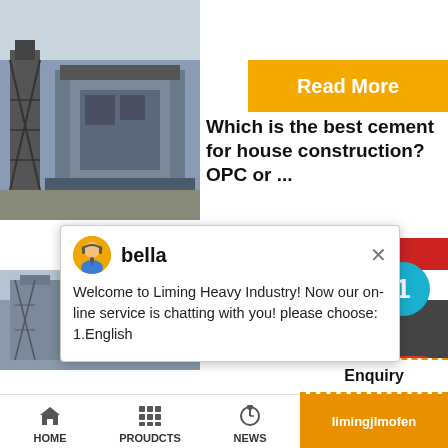[Figure (photo): Industrial crushing/mining machinery photo, aerial view, dark metal structure]
[Figure (photo): Read More yellow button overlay]
Which is the best cement for house construction? OPC or ...
[Figure (photo): 24Hrs Online red bar with partial face photo]
will attain after 28 days of setting. Grade 33 refer
attaining compression strength of
[Figure (screenshot): Chat popup with avatar of bella and welcome message from Liming Heavy Industry]
[Figure (photo): Second industrial photo at bottom left]
[Figure (infographic): Notification circle with number 1, Need question & suggestion panel with Chat Now and Enquiry buttons]
HOME   PROUDCTS   NEWS   limingjlmofen